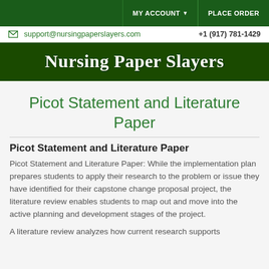MY ACCOUNT ▼   PLACE ORDER
✉ support@nursingpaperslayers.com   +1 (917) 781-1429
Nursing Paper Slayers
Picot Statement and Literature Paper
Picot Statement and Literature Paper
Picot Statement and Literature Paper: While the implementation plan prepares students to apply their research to the problem or issue they have identified for their capstone change proposal project, the literature review enables students to map out and move into the active planning and development stages of the project.
A literature review analyzes how current research supports